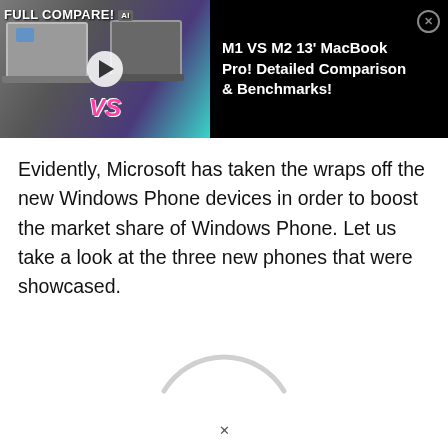[Figure (screenshot): Video ad banner showing M1 VS M2 13 inch MacBook Pro comparison video thumbnail with FULL COMPARE! text on black background. Thumbnail shows two laptops with VS text overlay.]
Evidently, Microsoft has taken the wraps off the new Windows Phone devices in order to boost the market share of Windows Phone. Let us take a look at the three new phones that were showcased.
[Figure (other): Loading spinner arc (partial circle arc in light gray, indicating content loading)]